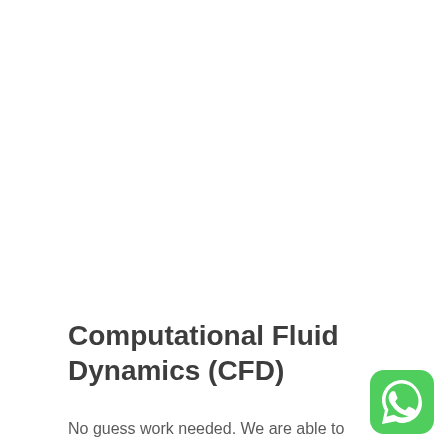Computational Fluid Dynamics (CFD)
No guess work needed. We are able to
[Figure (logo): WhatsApp logo icon — green rounded square with white phone handset inside a speech bubble]